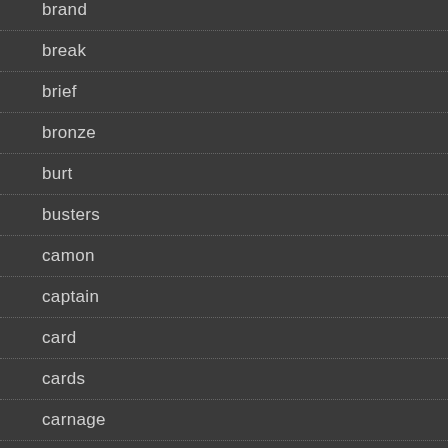brand
break
brief
bronze
burt
busters
camon
captain
card
cards
carnage
case
cate
charlie